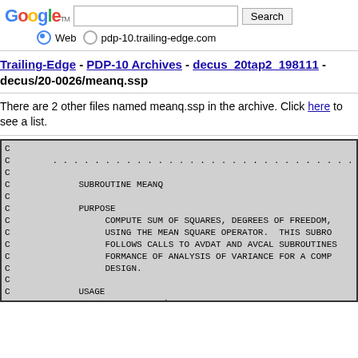Google Search — Web / pdp-10.trailing-edge.com
Trailing-Edge - PDP-10 Archives - decus_20tap2_198111 - decus/20-0026/meanq.ssp
There are 2 other files named meanq.ssp in the archive. Click here to see a list.
[Figure (screenshot): Monospace code box showing Fortran-style MEANQ subroutine header comments: C lines with SUBROUTINE MEANQ, PURPOSE (COMPUTE SUM OF SQUARES, DEGREES OF FREEDOM, USING THE MEAN SQUARE OPERATOR. THIS SUBROUTINE FOLLOWS CALLS TO AVDAT AND AVCAL SUBROUTINES FOR THE PERFORMANCE OF ANALYSIS OF VARIANCE FOR A COMPLETE DESIGN.), USAGE (CALL MEANQ (K,LEVEL,X,GMEAN,SUMSQ,NDF,SMEAN,LASTS))]